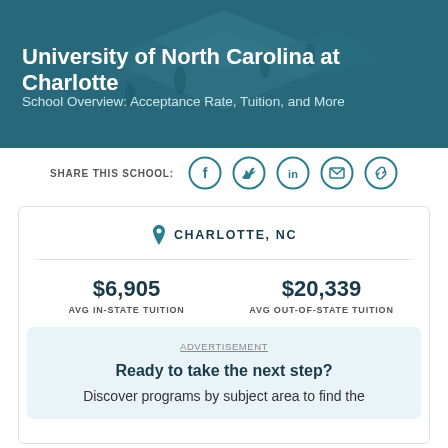University of North Carolina at Charlotte
School Overview: Acceptance Rate, Tuition, and More
SHARE THIS SCHOOL:
[Figure (infographic): Social sharing icons: Facebook, Twitter, LinkedIn, Email, Link]
CHARLOTTE, NC
| Metric | Value |
| --- | --- |
| AVG IN-STATE TUITION | $6,905 |
| AVG OUT-OF-STATE TUITION | $20,339 |
ADVERTISEMENT
Ready to take the next step?
Discover programs by subject area to find the